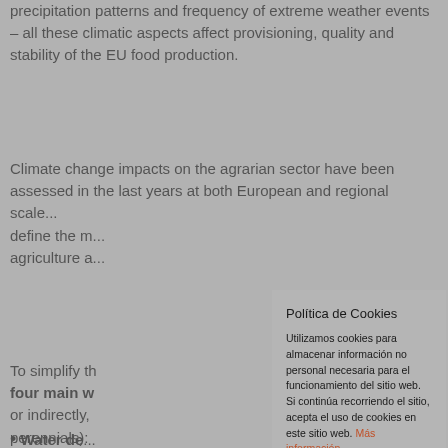precipitation patterns and frequency of extreme weather events – all these climatic aspects affect provisioning, quality and stability of the EU food production.
Climate change impacts on the agrarian sector have been assessed in the last years at both European and regional scale... define the m... agriculture a...
To simplify th... four main w... or indirectly, ... perennials):
Water de...
Excess wa...
High temp...
Low temp...
Política de Cookies

Utilizamos cookies para almacenar información no personal necesaria para el funcionamiento del sitio web. Si continúa recorriendo el sitio, acepta el uso de cookies en este sitio web. Más información.

Aceptar   Rechazar